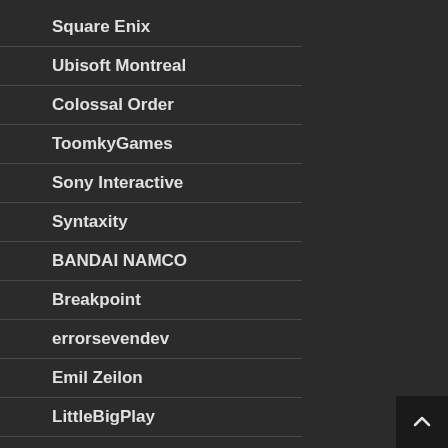Square Enix
Ubisoft Montreal
Colossal Order
ToomkyGames
Sony Interactive
Syntaxity
BANDAI NAMCO
Breakpoint
errorsevendev
Emil Zeilon
LittleBigPlay
Microsoft Studios
TT Games
MyPlayCity
Waterpower Technology
505 Games
Unimob